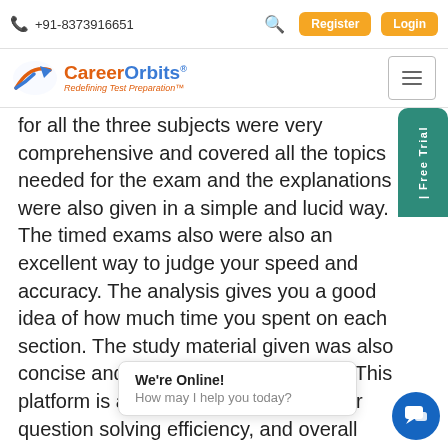+91-8373916651  [search] [Register] [Login]
[Figure (logo): CareerOrbits logo with tagline 'Redefining Test Preparation']
for all the three subjects were very comprehensive and covered all the topics needed for the exam and the explanations were also given in a simple and lucid way. The timed exams also were also an excellent way to judge your speed and accuracy. The analysis gives you a good idea of how much time you spent on each section. The study material given was also concise and very easy to understand. This platform is a good tool to increase your question solving efficiency, and overall performance. I would like to recommend this c[ourse to all the banking] aspirants.